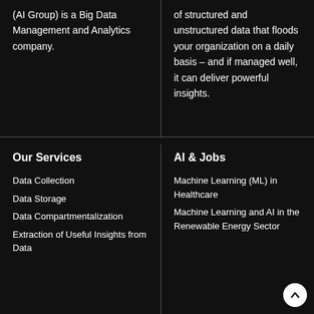(AI Group) is a Big Data Management and Analytics company.
of structured and unstructured data that floods your organization on a daily basis – and if managed well, it can deliver powerful insights.
Our Services
Data Collection
Data Storage
Data Compartmentalization
Extraction of Useful Insights from Data
AI & Jobs
Machine Learning (ML) in Healthcare
Machine Learning and AI in the Renewable Energy Sector